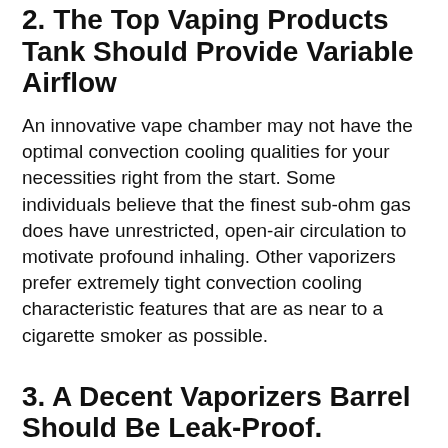2. The Top Vaping Products Tank Should Provide Variable Airflow
An innovative vape chamber may not have the optimal convection cooling qualities for your necessities right from the start. Some individuals believe that the finest sub-ohm gas does have unrestricted, open-air circulation to motivate profound inhaling. Other vaporizers prefer extremely tight convection cooling characteristic features that are as near to a cigarette smoker as possible.
3. A Decent Vaporizers Barrel Should Be Leak-Proof.
It's incredible how so many openings a vaping products tank can now have without spilling. A contemporary vape tank does have at least 2 huge consumption valves just on the bottom, as well as a huge bore on the top that